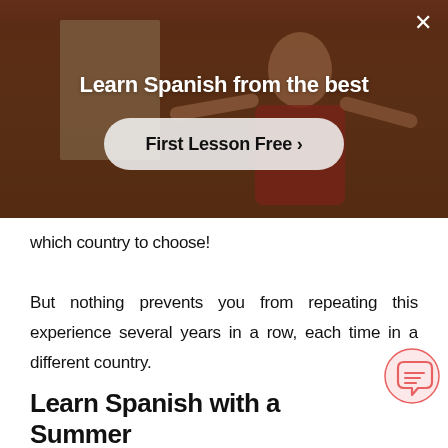[Figure (screenshot): A promotional banner/popup overlay showing a person in a classroom with arms outstretched. Contains the headline 'Learn Spanish from the best' and a 'First Lesson Free >' call-to-action button. A close (X) button appears in the top-right corner.]
which country to choose!
But nothing prevents you from repeating this experience several years in a row, each time in a different country.
Learn Spanish with a Summer Course